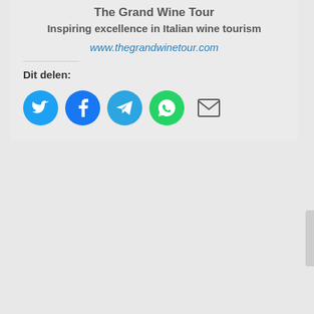The Grand Wine Tour
Inspiring excellence in Italian wine tourism
www.thegrandwinetour.com
Dit delen:
[Figure (infographic): Social share icons: Twitter (blue circle), Facebook (blue circle), Telegram (blue circle), WhatsApp (green circle), Email (envelope icon)]